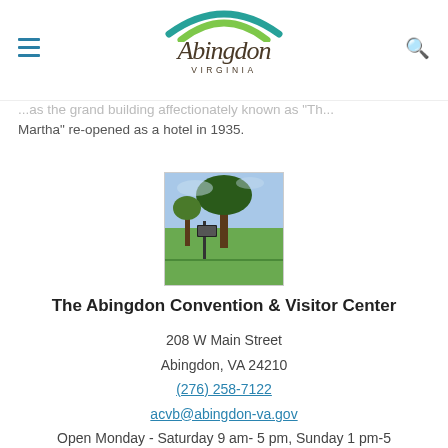Abingdon Virginia — website header with logo, hamburger menu, and search icon
...as the grand building affectionately known as "The Martha" re-opened as a hotel in 1935.
[Figure (photo): Outdoor photo showing a sign post in a grassy area with trees in the background, appears to be a park or historic site in Abingdon, VA.]
The Abingdon Convention & Visitor Center
208 W Main Street
Abingdon, VA 24210
(276) 258-7122
acvb@abingdon-va.gov
Open Monday - Saturday 9 am- 5 pm, Sunday 1 pm-5